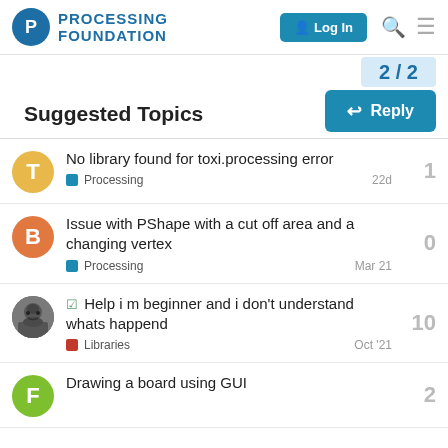PROCESSING FOUNDATION  Log In
2 / 2
Reply
Suggested Topics
No library found for toxi.processing error | Processing | 22d | replies: 1
Issue with PShape with a cut off area and a changing vertex | Processing | Mar 21 | replies: 0
Help i m beginner and i don't understand whats happend | Libraries | Oct '21 | replies: 10
Drawing a board using GUI | replies: 2